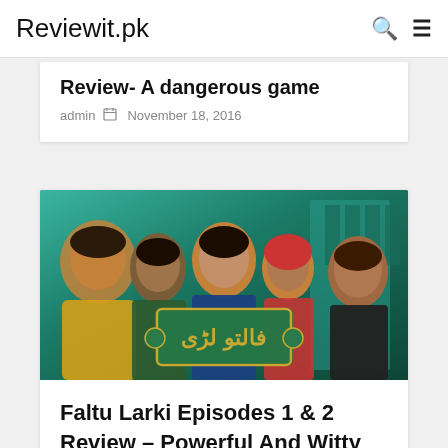Reviewit.pk
Review- A dangerous game
admin   November 18, 2016
[Figure (photo): Promotional image for Pakistani drama 'Faltu Larki' showing five female cast members with Urdu title text overlay on teal/green background]
Faltu Larki Episodes 1 & 2 Review – Powerful And Witty Dialogues
user submitted   November 13, 2016